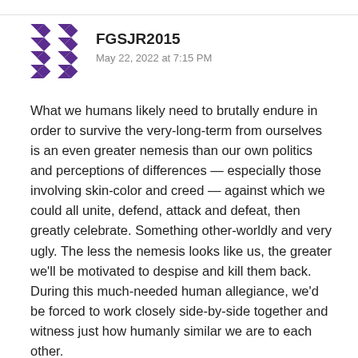[Figure (illustration): User avatar: purple and white geometric/quilt pattern square icon]
FGSJR2015
May 22, 2022 at 7:15 PM
What we humans likely need to brutally endure in order to survive the very-long-term from ourselves is an even greater nemesis than our own politics and perceptions of differences — especially those involving skin-color and creed — against which we could all unite, defend, attack and defeat, then greatly celebrate. Something other-worldly and very ugly. The less the nemesis looks like us, the greater we'll be motivated to despise and kill them back.
During this much-needed human allegiance, we'd be forced to work closely side-by-side together and witness just how humanly similar we are to each other.